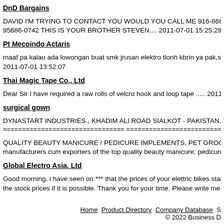DnD Bargains
DAVID I'M TRYING TO CONTACT YOU WOULD YOU CALL ME 916-868-5184 AND 95686-0742 THIS IS YOUR BROTHER STEVEN.... 2011-07-01 15:25:29
Pt Mecoindo Actaris
maaf pa kalau ada lowongan buat smk jrusan elektro tlonh kbrin ya pak,sya pgen krj 2011-07-01 13:52:07
Thai Magic Tape Co., Ltd
Dear Sir I have required a raw rolls of velcro hook and loop tape ..... 2011-07-01 10:5
surgical gown
DYNASTART INDUSTRIES., KHADIM ALI ROAD SIALKOT - PAKISTAN., Mob:+92*
================================ ====================================
QUALITY BEAUTY MANICURE / PEDICURE IMPLEMENTS, PET GROOMING SCI manufacturers cum exporters of the top quality beauty manicure, pedicure implemen
Global Electro Asia. Ltd
Good morning, i have seen on *** that the prices of your elettric bikes start from 100 the stock prices if it is possible. Thank you for your time. Please write me back on ***
Home  Product Directory  Company Database  S © 2022 Business D